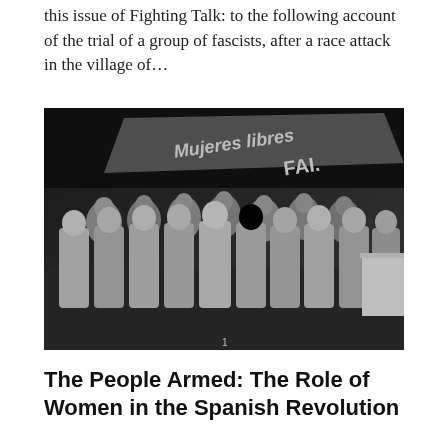this issue of Fighting Talk: to the following account of the trial of a group of fascists, after a race attack in the village of...
[Figure (photo): Black and white photograph of a large group of women standing together indoors, with a banner in the background reading 'Mujeres libres FAI.']
The People Armed: The Role of Women in the Spanish Revolution